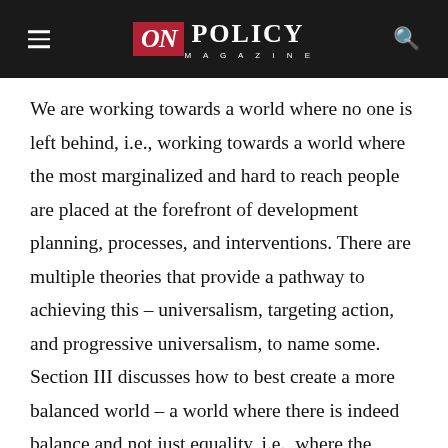ON POLICY MAGAZINE
We are working towards a world where no one is left behind, i.e., working towards a world where the most marginalized and hard to reach people are placed at the forefront of development planning, processes, and interventions. There are multiple theories that provide a pathway to achieving this – universalism, targeting action, and progressive universalism, to name some. Section III discusses how to best create a more balanced world – a world where there is indeed balance and not just equality, i.e., where the worst off are addressed first, a world which leaves no one behind. Section IV concludes this epilogue is leaving us asking where we envision the world beyond 2030. It delves into some possibilities –